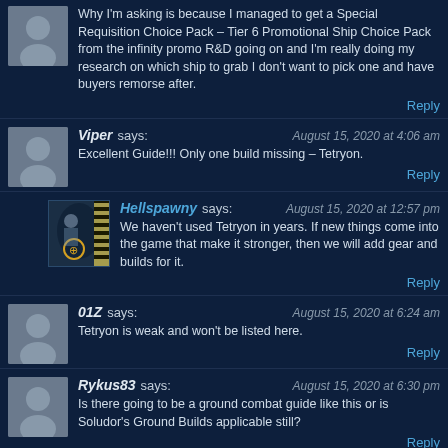Why I'm asking is because I managed to get a Special Requisition Choice Pack – Tier 6 Promotional Ship Choice Pack from the infinity promo R&D going on and I'm really doing my research on which ship to grab I don't want to pick one and have buyers remorse after.
Reply
Viper says: August 15, 2020 at 4:06 am
Excellent Guide!!! Only one build missing – Tetryon.
Reply
Hellspawny says: August 15, 2020 at 12:57 pm
We haven't used Tetryon in years. If new things come into the game that make it stronger, then we will add gear and builds for it.
Reply
01Z says: August 15, 2020 at 6:24 am
Tetryon is weak and won't be listed here.
Reply
Rykus83 says: August 15, 2020 at 6:30 pm
Is there going to be a ground combat guide like this or is Soludor's Ground Builds applicable still?
Reply